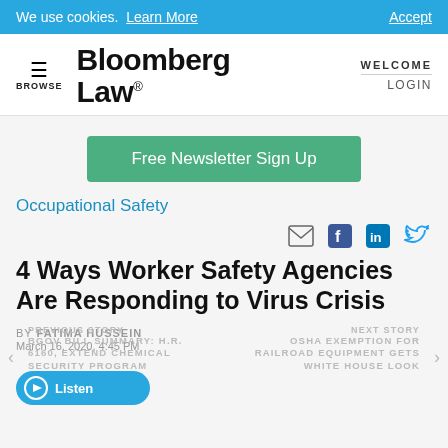We use cookies. Learn More   Accept
[Figure (logo): Bloomberg Law logo with hamburger menu, BROWSE label, WELCOME and LOGIN navigation]
[Figure (other): Free Newsletter Sign Up green button]
Occupational Safety
[Figure (other): Social sharing icons: email, Facebook, LinkedIn, Twitter]
4 Ways Worker Safety Agencies Are Responding to Virus Crisis
BY FATIMA HUSSEIN
March 16, 2020, 4:45 PM
PREVIOUS STORY
BGOV BILL SUMMARY: H.R. 6160, EXTEND CHEMICAL SECURITY PROGRAM
NEXT STORY
OSHA EXEMPTION FOR RAILROAD EQUIPMENT GETS WHITE HOUSE LOOK
[Figure (other): Listen audio button in blue]